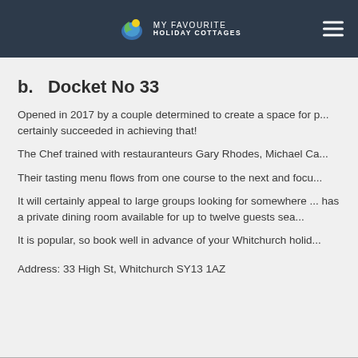MY FAVOURITE HOLIDAY COTTAGES
b. Docket No 33
Opened in 2017 by a couple determined to create a space for p... certainly succeeded in achieving that!
The Chef trained with restauranteurs Gary Rhodes, Michael Ca...
Their tasting menu flows from one course to the next and focu...
It will certainly appeal to large groups looking for somewhere ... has a private dining room available for up to twelve guests sea...
It is popular, so book well in advance of your Whitchurch holid...
Address: 33 High St, Whitchurch SY13 1AZ